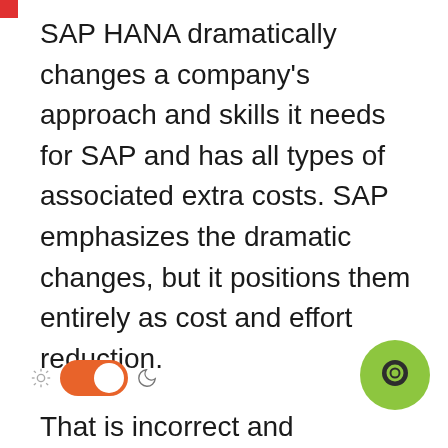SAP HANA dramatically changes a company's approach and skills it needs for SAP and has all types of associated extra costs. SAP emphasizes the dramatic changes, but it positions them entirely as cost and effort reduction.
That is incorrect and misleading.
It makes no sense to continually transition so quickly from the cost to the benefits side of the equation.